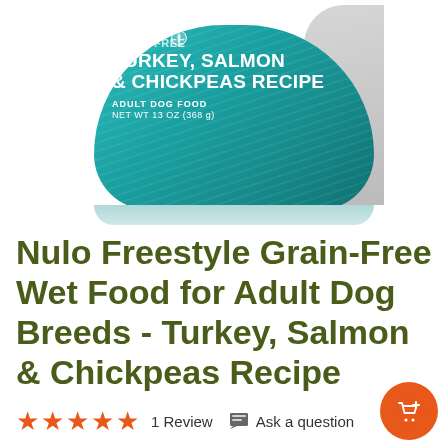[Figure (photo): Product photo of Nulo Grain-Free Turkey, Salmon & Chickpeas Recipe Adult Dog Food wet food can (13 oz / 368g) with teal label and dog visible in background]
Nulo Freestyle Grain-Free Wet Food for Adult Dog Breeds - Turkey, Salmon & Chickpeas Recipe
★★★★★ 1 Review  💬 Ask a question